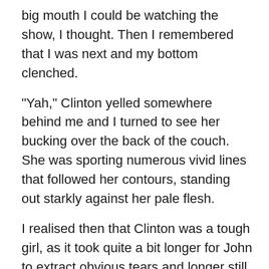big mouth I could be watching the show, I thought. Then I remembered that I was next and my bottom clenched.
“Yah,” Clinton yelled somewhere behind me and I turned to see her bucking over the back of the couch. She was sporting numerous vivid lines that followed her contours, standing out starkly against her pale flesh.
I realised then that Clinton was a tough girl, as it took quite a bit longer for John to extract obvious tears and longer still for any kind of earnest howling.
Her welted bottom held my gaze for a few moments and then I turned back to face the corner before John saw me looking. I remembered that Clinton had been more disciplined than I when she had stood here. I obviously still had a lot to learn. Still? What was I thinking? I went a little